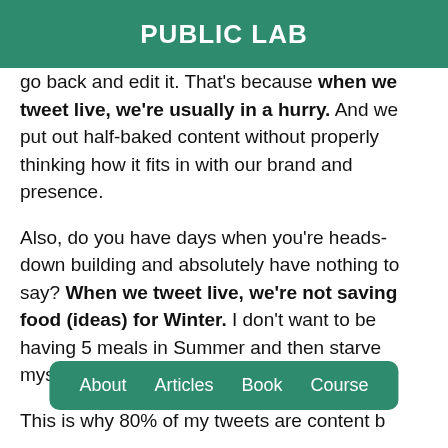PUBLIC LAB
go back and edit it. That's because when we tweet live, we're usually in a hurry. And we put out half-baked content without properly thinking how it fits in with our brand and presence.
Also, do you have days when you're heads-down building and absolutely have nothing to say? When we tweet live, we're not saving food (ideas) for Winter. I don't want to be having 5 meals in Summer and then starve myself in Winter.
This is why 80% of my tweets are content b…
About   Articles   Book   Course